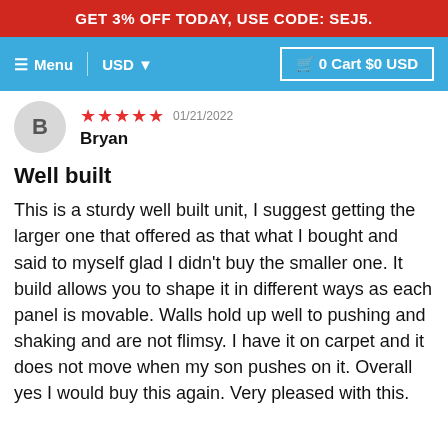GET 3% OFF TODAY, USE CODE: SEJ5.
Menu  USD  0 Cart $0 USD
B  Bryan  ★★★★★  01/21/2022
Well built
This is a sturdy well built unit, I suggest getting the larger one that offered as that what I bought and said to myself glad I didn't buy the smaller one. It build allows you to shape it in different ways as each panel is movable. Walls hold up well to pushing and shaking and are not flimsy. I have it on carpet and it does not move when my son pushes on it. Overall yes I would buy this again. Very pleased with this.